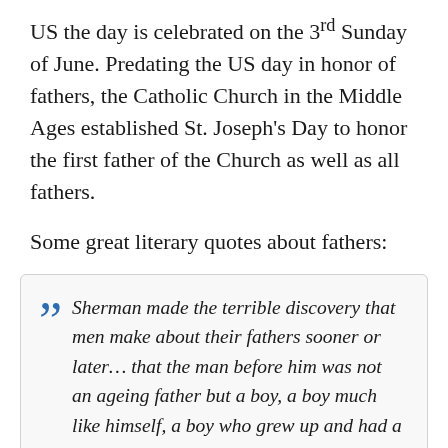US the day is celebrated on the 3rd Sunday of June. Predating the US day in honor of fathers, the Catholic Church in the Middle Ages established St. Joseph's Day to honor the first father of the Church as well as all fathers.
Some great literary quotes about fathers:
Sherman made the terrible discovery that men make about their fathers sooner or later… that the man before him was not an ageing father but a boy, a boy much like himself, a boy who grew up and had a child of his own and, as best he could, out of a sense of duty and perhaps love, adopted a